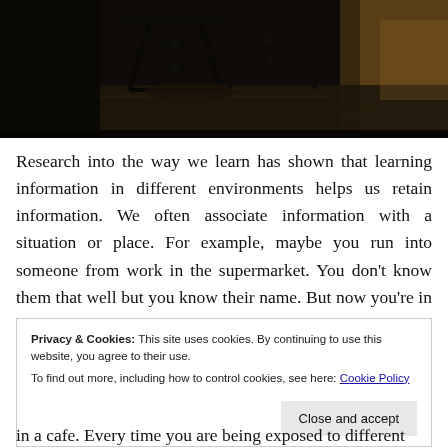[Figure (photo): Dark indoor photo showing a wrought iron table/chair silhouette in a dimly lit room with wooden floor, near a window with warm light]
Research into the way we learn has shown that learning information in different environments helps us retain information. We often associate information with a situation or place. For example, maybe you run into someone from work in the supermarket. You don't know them that well but you know their name. But now you're in a totally different environment and that person is out of context and you forget their name or maybe even
Privacy & Cookies: This site uses cookies. By continuing to use this website, you agree to their use.
To find out more, including how to control cookies, see here: Cookie Policy
in a cafe. Every time you are being exposed to different